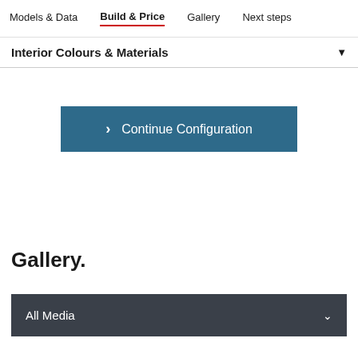Models & Data  Build & Price  Gallery  Next steps
Interior Colours & Materials
Continue Configuration
Gallery.
All Media